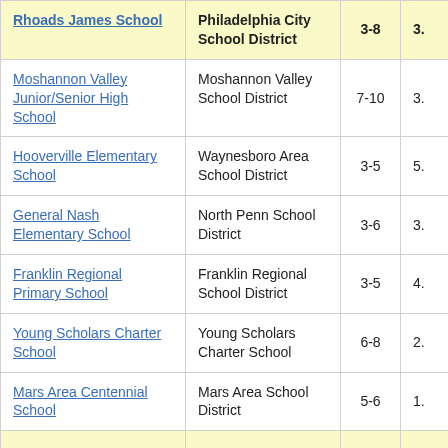| School | District | Grades | Score |
| --- | --- | --- | --- |
| Rhoads James School | Philadelphia City School District | 3-8 | 3. |
| Moshannon Valley Junior/Senior High School | Moshannon Valley School District | 7-10 | 3. |
| Hooverville Elementary School | Waynesboro Area School District | 3-5 | 5. |
| General Nash Elementary School | North Penn School District | 3-6 | 3. |
| Franklin Regional Primary School | Franklin Regional School District | 3-5 | 4. |
| Young Scholars Charter School | Young Scholars Charter School | 6-8 | 2. |
| Mars Area Centennial School | Mars Area School District | 5-6 | 1. |